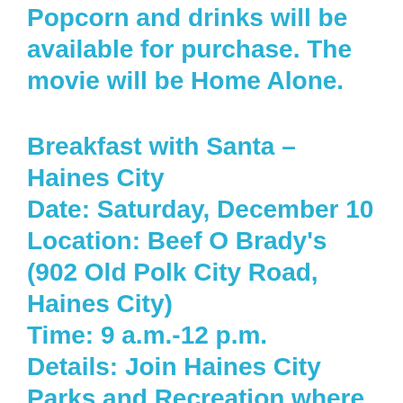Popcorn and drinks will be available for purchase. The movie will be Home Alone.
Breakfast with Santa – Haines City
Date: Saturday, December 10
Location: Beef O Brady's (902 Old Polk City Road, Haines City)
Time: 9 a.m.-12 p.m.
Details: Join Haines City Parks and Recreation where Santa and Mrs. Claus will great the children and pose for pictures. Admission is included